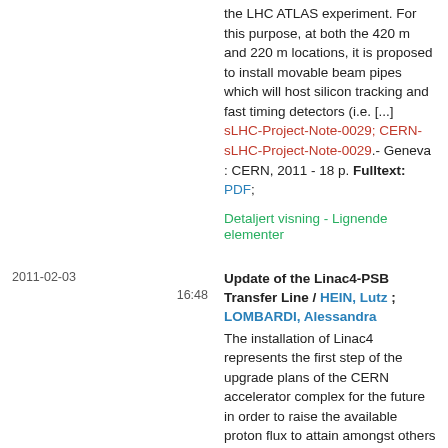the LHC ATLAS experiment. For this purpose, at both the 420 m and 220 m locations, it is proposed to install movable beam pipes which will host silicon tracking and fast timing detectors (i.e. [...] sLHC-Project-Note-0029; CERN-sLHC-Project-Note-0029.- Geneva : CERN, 2011 - 18 p. Fulltext: PDF;
Detaljert visning - Lignende elementer
2011-02-03
16:48
Update of the Linac4-PSB Transfer Line / HEIN, Lutz ; LOMBARDI, Alessandra
The installation of Linac4 represents the first step of the upgrade plans of the CERN accelerator complex for the future in order to raise the available proton flux to attain amongst others the LHC ultimate luminosity. This linac is capable to accelerate H--ions from 45keV to 160MeV, which will be injected into the Proton Synchrotron Booster (PSB). [...]